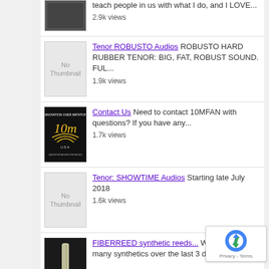teach people in us with what I do, and I LOVE... 2.9k views
Tenor ROBUSTO Audios ROBUSTO HARD RUBBER TENOR: BIG, FAT, ROBUST SOUND. FUL... 1.9k views
Contact Us Need to contact 10MFAN with questions? If you have any... 1.7k views
Tenor: SHOWTIME Audios Starting late July 2018 1.6k views
FIBERREED synthetic reeds... Well, Iv tried so many synthetics over the last 3 deca... 1.k views